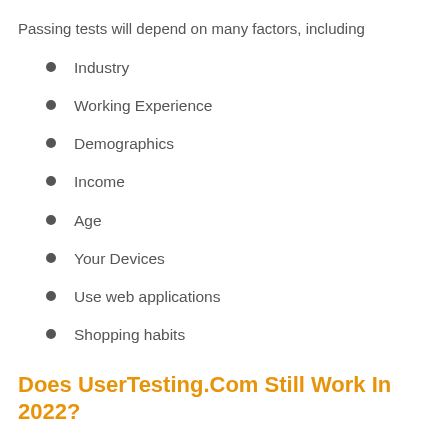Passing tests will depend on many factors, including
Industry
Working Experience
Demographics
Income
Age
Your Devices
Use web applications
Shopping habits
Does UserTesting.Com Still Work In 2022?